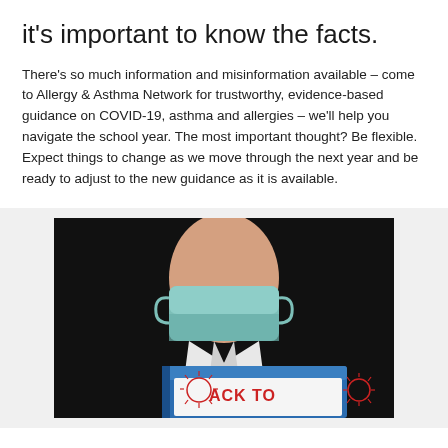it's important to know the facts.
There's so much information and misinformation available – come to Allergy & Asthma Network for trustworthy, evidence-based guidance on COVID-19, asthma and allergies – we'll help you navigate the school year. The most important thought? Be flexible. Expect things to change as we move through the next year and be ready to adjust to the new guidance as it is available.
[Figure (photo): A person wearing a surgical face mask holding a blue binder/folder with a sign that reads 'BACK TO' with COVID-19 virus illustrations on it.]